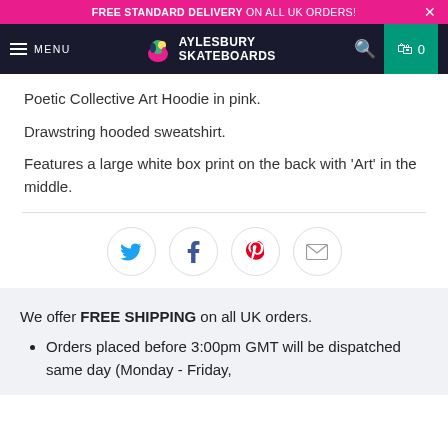FREE STANDARD DELIVERY ON ALL UK ORDERS!
MENU | AYLESBURY SKATEBOARDS | 0
Poetic Collective Art Hoodie in pink.
Drawstring hooded sweatshirt.
Features a large white box print on the back with 'Art' in the middle.
[Figure (infographic): Social share icons row: Twitter (blue bird), Facebook (blue f), Pinterest (red p), Email (envelope) — each in a circular border]
We offer FREE SHIPPING on all UK orders.
Orders placed before 3:00pm GMT will be dispatched same day (Monday - Friday,